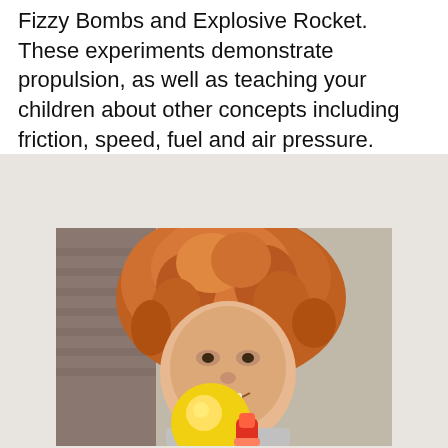Fizzy Bombs and Explosive Rocket. These experiments demonstrate propulsion, as well as teaching your children about other concepts including friction, speed, fuel and air pressure.
[Figure (photo): A smiling child with curly red/orange hair holding a yellow ball and colorful toy rocket toward the camera, indoors with brick wall visible in background.]